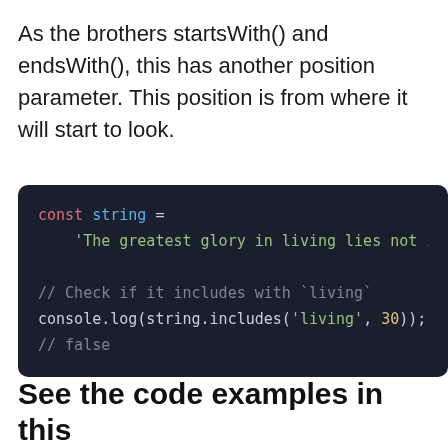As the brothers startsWith() and endsWith(), this has another position parameter. This position is from where it will start to look.
[Figure (screenshot): Dark-themed code block showing JavaScript code: const string = 'The greatest glory in living lies not in ne... // Check if it includes with `living` console.log(string.includes('living', 30)); // false]
See the code examples in this